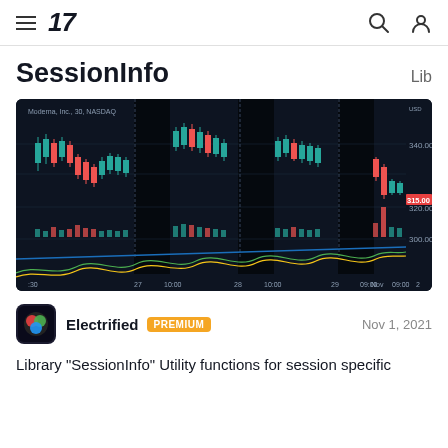TradingView header with hamburger menu, logo '17', search icon, and user icon
SessionInfo
Lib
[Figure (screenshot): TradingView candlestick chart showing Moderna, Inc., 30, NASDAQ with dark shaded session regions, price levels around 315-340 USD, volume bars, blue diagonal line indicator, and green/yellow oscillating lines at bottom. X-axis shows dates: 27, 10:00, 28, 10:00, 29, 09:00, Nov, 09:00, 2. Price label 315.00 shown in red on right side.]
Electrified  PREMIUM                                           Nov 1, 2021
Library "SessionInfo" Utility functions for session specific